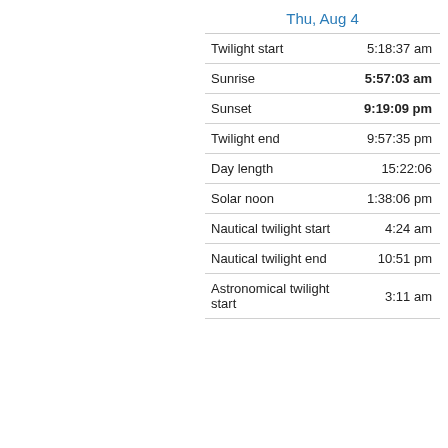|  | Thu, Aug 4 |
| --- | --- |
| Twilight start | 5:18:37 am |
| Sunrise | 5:57:03 am |
| Sunset | 9:19:09 pm |
| Twilight end | 9:57:35 pm |
| Day length | 15:22:06 |
| Solar noon | 1:38:06 pm |
| Nautical twilight start | 4:24 am |
| Nautical twilight end | 10:51 pm |
| Astronomical twilight start | 3:11 am |